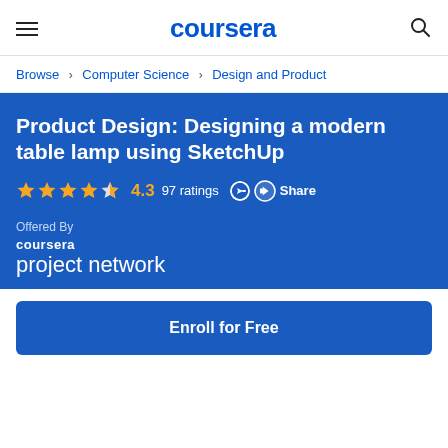coursera
Browse > Computer Science > Design and Product
Product Design: Designing a modern table lamp using SketchUp
4.3  97 ratings  Share
Offered By
coursera project network
Enroll for Free